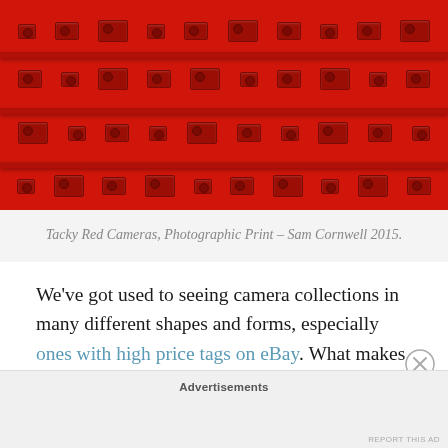[Figure (photo): Photograph of red shelves filled with small red cameras arranged in a grid pattern, all items coloured red against a red background]
Tacky Red Cameras, Photographic Print – Sam Cornwell 2015.
We've got used to seeing camera collections in many different shapes and forms, especially ones with high price tags on eBay. What makes this collection different from all those is the overwhelming abundance of the colour red. Upon further inspection, The Becher-esque style grid is filled with 81 (9×9) individually coloured red
Advertisements